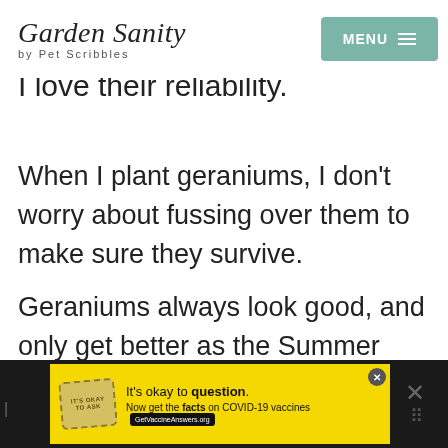Garden Sanity by Pet Scribbles | MENU
I love their reliability.
When I plant geraniums, I don't worry about fussing over them to make sure they survive.
Geraniums always look good, and only get better as the Summer season continues.
[Figure (other): Advertisement banner: yellow background with stamp graphic. Text reads: It's okay to question. Now get the facts on COVID-19 vaccines. GetVaccineAnswers.org]